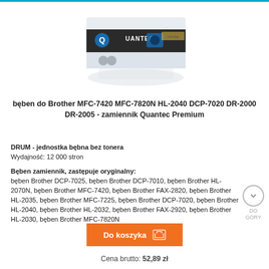[Figure (photo): Quantec Premium toner/drum cartridge box product photo]
bęben do Brother MFC-7420 MFC-7820N HL-2040 DCP-7020 DR-2000 DR-2005 - zamiennik Quantec Premium
DRUM - jednostka bębna bez tonera
Wydajność: 12 000 stron
Bęben zamiennik, zastępuje oryginalny:
bęben Brother DCP-7025, bęben Brother DCP-7010, bęben Brother HL-2070N, bęben Brother MFC-7420, bęben Brother FAX-2820, bęben Brother HL-2035, bęben Brother MFC-7225, bęben Brother DCP-7020, bęben Brother HL-2040, bęben Brother HL-2032, bęben Brother FAX-2920, bęben Brother HL-2030, bęben Brother MFC-7820N
Do koszyka
Cena brutto: 52,89 zł